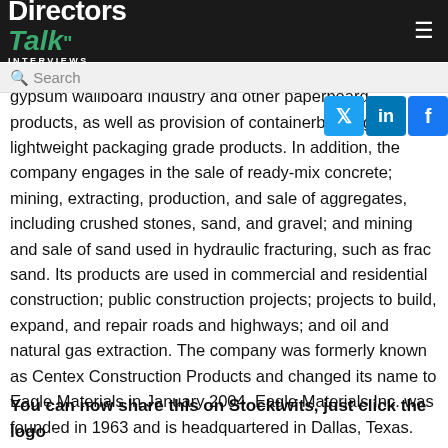Directors Talk INTERVIEWS
finish the interior walls and ceilings in residential, commercial, and industrial structures. It is also involved in the manufacture and sale of recycled paperboard for the gypsum wallboard industry and other paperboard products, as well as provision of containerboard grade and lightweight packaging grade products. In addition, the company engages in the sale of ready-mix concrete; mining, extracting, production, and sale of aggregates, including crushed stones, sand, and gravel; and mining and sale of sand used in hydraulic fracturing, such as frac sand. Its products are used in commercial and residential construction; public construction projects; projects to build, expand, and repair roads and highways; and oil and natural gas extraction. The company was formerly known as Centex Construction Products and changed its name to Eagle Materials in January 2004. Eagle Materials Inc. was founded in 1963 and is headquartered in Dallas, Texas.
You can now share this on Stocktwits, just click the logo